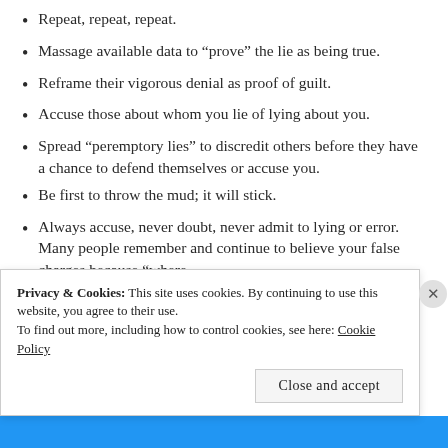Repeat, repeat, repeat.
Massage available data to “prove” the lie as being true.
Reframe their vigorous denial as proof of guilt.
Accuse those about whom you lie of lying about you.
Spread “peremptory lies” to discredit others before they have a chance to defend themselves or accuse you.
Be first to throw the mud; it will stick.
Always accuse, never doubt, never admit to lying or error. Many people remember and continue to believe your false charges because “where
Privacy & Cookies: This site uses cookies. By continuing to use this website, you agree to their use.
To find out more, including how to control cookies, see here: Cookie Policy